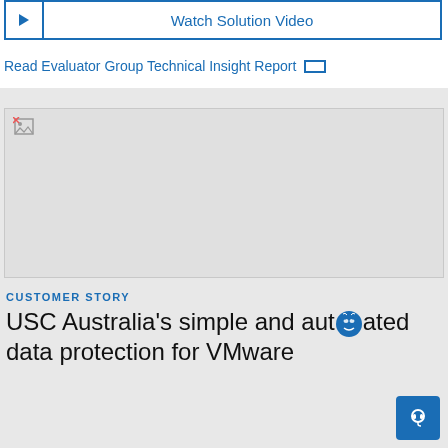[Figure (other): Watch Solution Video button with play icon and blue border]
Read Evaluator Group Technical Insight Report
[Figure (photo): Image placeholder (broken image) in gray background area]
CUSTOMER STORY
USC Australia's simple and automated data protection for VMware